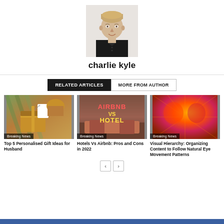[Figure (photo): Profile photo of charlie kyle, a young man with light hair wearing a dark polo shirt, smiling, on a light background]
charlie kyle
RELATED ARTICLES
MORE FROM AUTHOR
[Figure (photo): Gift boxes with tags and colorful fabric backdrop, labeled Breaking News]
Top 5 Personalised Gift Ideas for Husband
[Figure (photo): Hotel room image with Airbnb vs Hotel overlay text, labeled Breaking News]
Hotels Vs Airbnb: Pros and Cons in 2022
[Figure (photo): Abstract colorful radial pattern in orange/red/pink tones, labeled Breaking News]
Visual Hierarchy: Organizing Content to Follow Natural Eye Movement Patterns